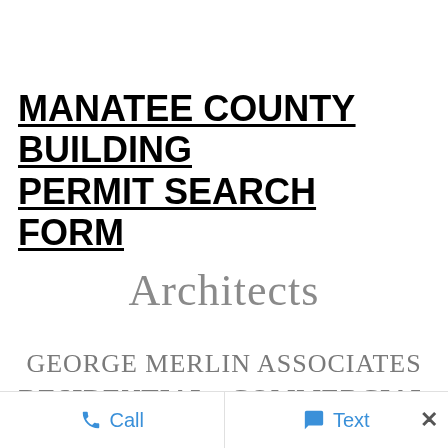MANATEE COUNTY BUILDING PERMIT SEARCH FORM
Architects
GEORGE MERLIN ASSOCIATES
RESIDENTIAL   COMMERCIAL
Call   Text